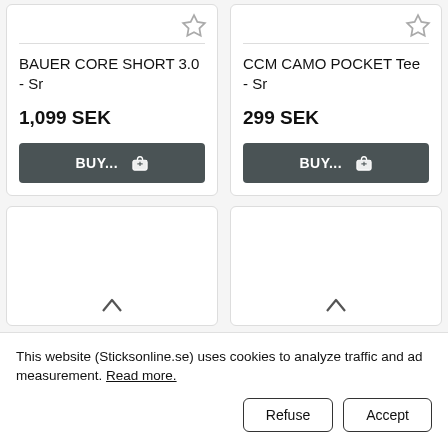BAUER CORE SHORT 3.0 - Sr
1,099 SEK
BUY...
CCM CAMO POCKET Tee - Sr
299 SEK
BUY...
This website (Sticksonline.se) uses cookies to analyze traffic and ad measurement. Read more.